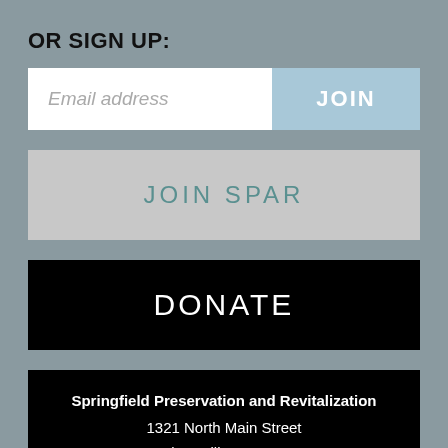OR SIGN UP:
Email address
JOIN
JOIN SPAR
DONATE
Springfield Preservation and Revitalization
1321 North Main Street
Jacksonville, FL 32206
(904) 353-7727